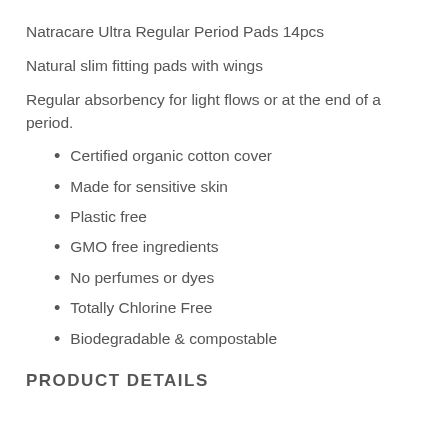Natracare Ultra Regular Period Pads 14pcs
Natural slim fitting pads with wings
Regular absorbency for light flows or at the end of a period.
Certified organic cotton cover
Made for sensitive skin
Plastic free
GMO free ingredients
No perfumes or dyes
Totally Chlorine Free
Biodegradable & compostable
PRODUCT DETAILS